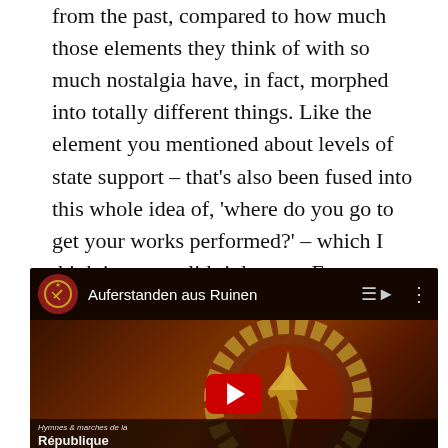from the past, compared to how much those elements they think of with so much nostalgia have, in fact, morphed into totally different things. Like the element you mentioned about levels of state support – that's also been fused into this whole idea of, 'where do you go to get your works performed?' – which I think is very valid right now. Europe seems to support musicians more than the U.S., for sure.
[Figure (screenshot): YouTube video embed showing 'Auferstanden aus Ruinen' with GDR emblem thumbnail and text 'Hymnes et marches de la République Démocratique' at bottom]